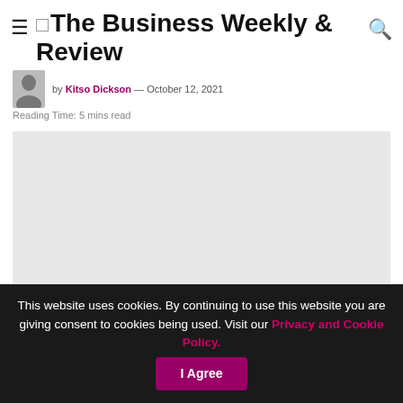The Business Weekly & Review
by Kitso Dickson — October 12, 2021
Reading Time: 5 mins read
[Figure (photo): Featured image placeholder (light gray rectangle)]
This website uses cookies. By continuing to use this website you are giving consent to cookies being used. Visit our Privacy and Cookie Policy.